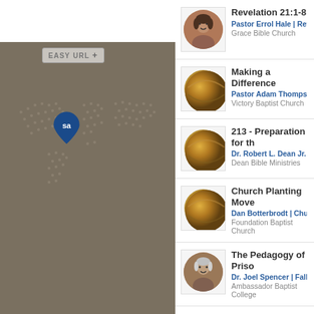[Figure (screenshot): Left panel with world map background and location pin, with Easy URL bar at top]
Revelation 21:1-8 | Pastor Errol Hale | Revelation | Grace Bible Church
Making a Difference | Pastor Adam Thompson | Victory Baptist Church
213 - Preparation for th... | Dr. Robert L. Dean Jr. | Hebre... | Dean Bible Ministries
Church Planting Move... | Dan Botterbrodt | Church Pla... | Foundation Baptist Church
The Pedagogy of Priso... | Dr. Joel Spencer | Fall Semes... | Ambassador Baptist College